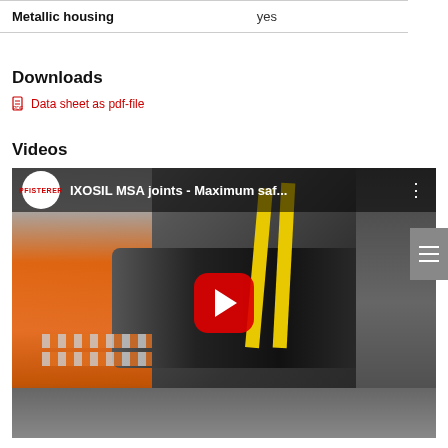|  |  |
| --- | --- |
| Metallic housing | yes |
Downloads
Data sheet as pdf-file
Videos
[Figure (screenshot): YouTube video thumbnail showing IXOSIL MSA joints - Maximum saf... with a person in an orange high-visibility vest working on cable joint equipment with yellow bars, Pfisterer logo visible in top-left corner of the video player]